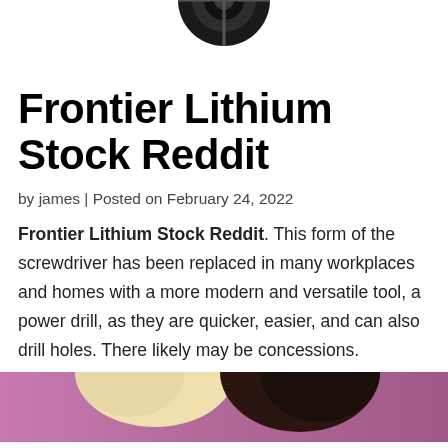[Figure (photo): Partial image of a circular black object (screwdriver head or similar tool) at the top of the page]
Frontier Lithium Stock Reddit
by james | Posted on February 24, 2022
Frontier Lithium Stock Reddit. This form of the screwdriver has been replaced in many workplaces and homes with a more modern and versatile tool, a power drill, as they are quicker, easier, and can also drill holes. There likely may be concessions.
[Figure (photo): Bottom portion of image showing two people with blonde and brunette hair against a pink/purple background]